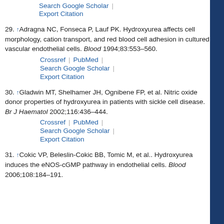Search Google Scholar | Export Citation (top, continuation)
29. ↑ Adragna NC, Fonseca P, Lauf PK. Hydroxyurea affects cell morphology, cation transport, and red blood cell adhesion in cultured vascular endothelial cells. Blood 1994;83:553–560. Crossref | PubMed | Search Google Scholar | Export Citation
30. ↑ Gladwin MT, Shelhamer JH, Ognibene FP, et al. Nitric oxide donor properties of hydroxyurea in patients with sickle cell disease. Br J Haematol 2002;116:436–444. Crossref | PubMed | Search Google Scholar | Export Citation
31. ↑ Cokic VP, Beleslin-Cokic BB, Tomic M, et al.. Hydroxyurea induces the eNOS-cGMP pathway in endothelial cells. Blood 2006;108:184–191.